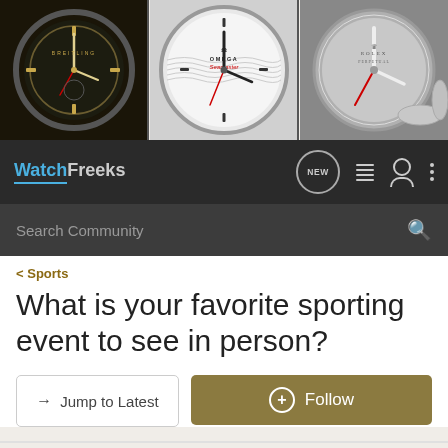[Figure (photo): Banner image showing three panels of close-up luxury watch photos: left panel shows a dark chronograph watch, center panel shows an Omega Seamaster with white dial, right panel shows a silver Rolex-like watch]
WatchFreeks navigation bar with logo, NEW button, list icon, user icon, and more icon
Search Community
< Sports
What is your favorite sporting event to see in person?
→ Jump to Latest
+ Follow
1 - 20 of 49 Posts   1 of 3  ▶  ⏭